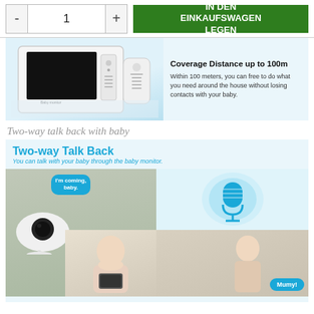[Figure (screenshot): E-commerce product page showing quantity selector (- 1 +) and a green 'IN DEN EINKAUFSWAGEN LEGEN' (Add to cart) button]
[Figure (photo): Baby monitor device with screen and remote, on light blue background. Text: 'Coverage Distance up to 100m' - Within 100 meters, you can free to do what you need around the house without losing contacts with your baby.]
Two-way talk back with baby
[Figure (infographic): Two-way Talk Back infographic showing camera with speech bubble 'I'm coming, baby.', a baby, microphone icon with sound waves, and a woman with 'Mumy!' bubble. Subtitle: You can talk with your baby through the baby monitor.]